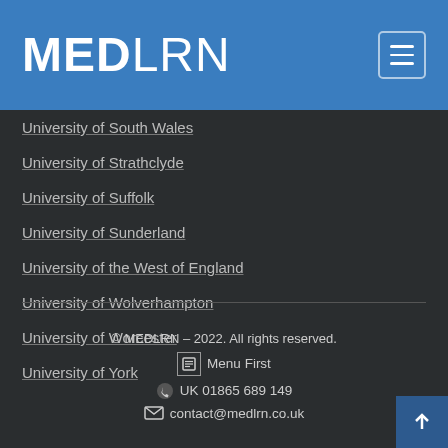MEDLRN
University of South Wales
University of Strathclyde
University of Suffolk
University of Sunderland
University of the West of England
University of Wolverhampton
University of Worcester
University of York
© MEDLRN – 2022. All rights reserved.
Menu First
UK 01865 689 149
contact@medlrn.co.uk